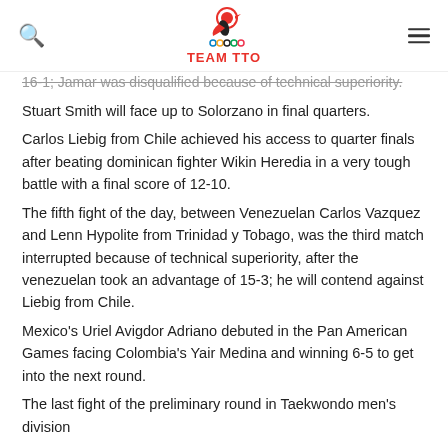TEAM TTO
16-1; Jamar was disqualified because of technical superiority. Stuart Smith will face up to Solorzano in final quarters. Carlos Liebig from Chile achieved his access to quarter finals after beating dominican fighter Wikin Heredia in a very tough battle with a final score of 12-10. The fifth fight of the day, between Venezuelan Carlos Vazquez and Lenn Hypolite from Trinidad y Tobago, was the third match interrupted because of technical superiority, after the venezuelan took an advantage of 15-3; he will contend against Liebig from Chile. Mexico's Uriel Avigdor Adriano debuted in the Pan American Games facing Colombia's Yair Medina and winning 6-5 to get into the next round. The last fight of the preliminary round in Taekwondo men's division